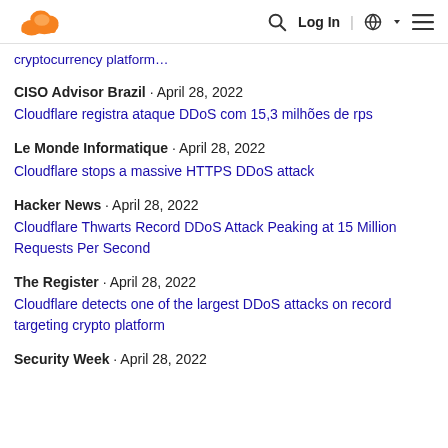Cloudflare logo | Search | Log In | Globe | Menu
cryptocurrency platform…
CISO Advisor Brazil · April 28, 2022 — Cloudflare registra ataque DDoS com 15,3 milhões de rps
Le Monde Informatique · April 28, 2022 — Cloudflare stops a massive HTTPS DDoS attack
Hacker News · April 28, 2022 — Cloudflare Thwarts Record DDoS Attack Peaking at 15 Million Requests Per Second
The Register · April 28, 2022 — Cloudflare detects one of the largest DDoS attacks on record targeting crypto platform
Security Week · April 28, 2022